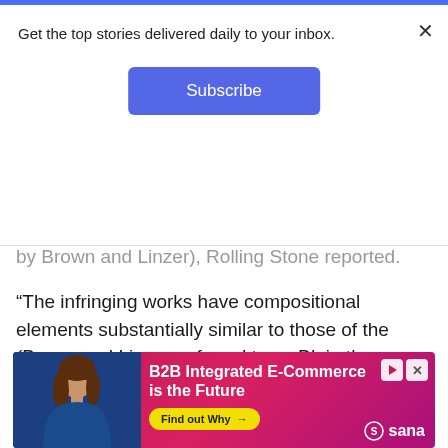Get the top stories delivered daily to your inbox.
Subscribe
by Brown and Linzer), Rolling Stone reported.
“The infringing works have compositional elements substantially similar to those of the (Brown and Linzer, referred to as BL in the lawsuit) songs. Most significantly, the first and defining melody (the ‘signature melody’) in the infringing works is a
Read More
[Figure (screenshot): Advertisement banner for Sana B2B Integrated E-Commerce with a woman in a blue turtleneck sweater and text 'B2B Integrated E-Commerce is the Future' with a yellow 'Find out Why' button and Sana logo]